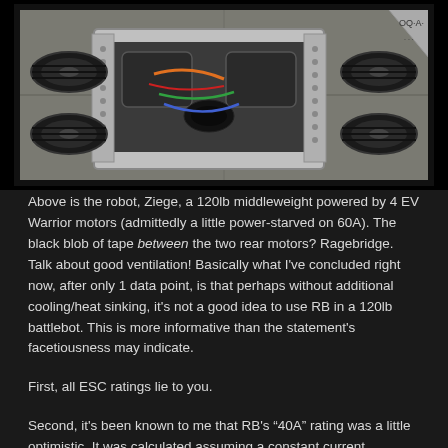[Figure (photo): Top-down view of combat robot 'Ziege', a 120lb middleweight robot on a grey floor. The robot has a rectangular aluminum chassis with large black rubber wheels on each side, exposed internals including motors, wiring (orange, green, blue wires), and a black blob of tape visible between the two rear motors. A triangular grey surface is visible in the upper right corner of the image.]
Above is the robot, Ziege, a 120lb middleweight powered by 4 EV Warrior motors (admittedly a little power-starved on 60A). The black blob of tape between the two rear motors? Ragebridge. Talk about good ventilation! Basically what I've concluded right now, after only 1 data point, is that perhaps without additional cooling/heat sinking, it's not a good idea to use RB in a 120lb battlebot. This is more informative than the statement's facetiousness may indicate.
First, all ESC ratings lie to you.
Second, it's been known to me that RB's “40A” rating was a little optimistic. It was calculated assuming a constant current